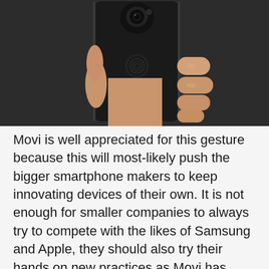[Figure (photo): A hand holding the back of a black Movi smartphone, showing the rear camera and fingerprint sensor, against a dark background.]
Movi is well appreciated for this gesture because this will most-likely push the bigger smartphone makers to keep innovating devices of their own. It is not enough for smaller companies to always try to compete with the likes of Samsung and Apple, they should also try their hands on new practices as Movi has done. Companies like Motorola sell smartphones that are compatible with a